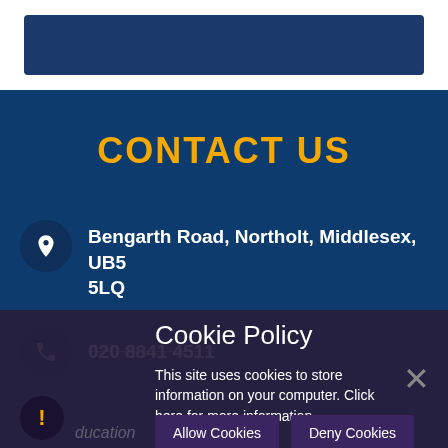[Figure (other): Top white header bar with dark navy blue rectangle logo/banner element]
CONTACT US
Bengarth Road, Northolt, Middlesex, UB5 5LQ
020 8841 4511
Cookie Policy
This site uses cookies to store information on your computer. Click here for more information
Allow Cookies  Deny Cookies